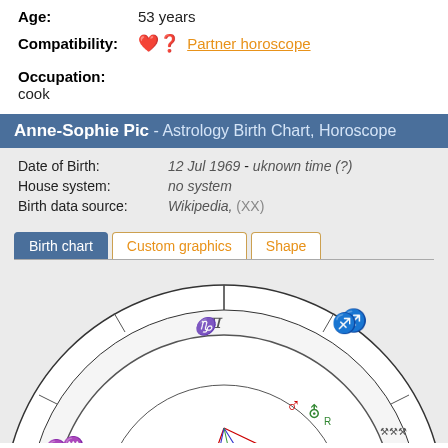Age: 53 years
Compatibility: Partner horoscope
Occupation: cook
Anne-Sophie Pic - Astrology Birth Chart, Horoscope
Date of Birth: 12 Jul 1969 - uknown time (?)
House system: no system
Birth data source: Wikipedia, (XX)
Birth chart | Custom graphics | Shape
[Figure (other): Astrology birth chart / horoscope wheel showing zodiac signs and planetary positions for Anne-Sophie Pic, with colored aspect lines inside the wheel. Visible signs include Capricorn, Sagittarius, Scorpio, Libra, Virgo, Pisces, Aquarius. Planets visible include Mars, Uranus, Jupiter.]